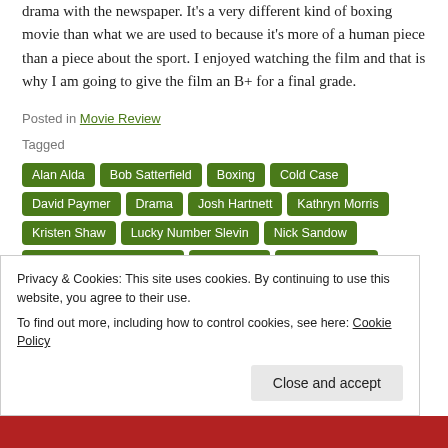drama with the newspaper. It's a very different kind of boxing movie than what we are used to because it's more of a human piece than a piece about the sport. I enjoyed watching the film and that is why I am going to give the film an B+ for a final grade.
Posted in Movie Review
Tagged Alan Alda Bob Satterfield Boxing Cold Case David Paymer Drama Josh Hartnett Kathryn Morris Kristen Shaw Lucky Number Slevin Nick Sandow Orange Is The New Black Quiz Show Rachel Nichols Resurrecting The Champ Rod Lurie Samuel L. Jackson Showtime Boxing Sport Sports Star Trek The Contender
Privacy & Cookies: This site uses cookies. By continuing to use this website, you agree to their use. To find out more, including how to control cookies, see here: Cookie Policy
Close and accept